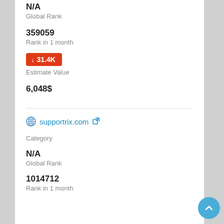N/A
Global Rank
359059
Rank in 1 month
↓ 31.4K
Estimate Value
6,048$
supportrix.com
Category
N/A
Global Rank
1014712
Rank in 1 month